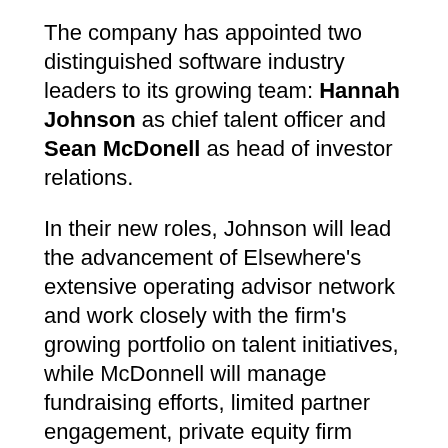The company has appointed two distinguished software industry leaders to its growing team: Hannah Johnson as chief talent officer and Sean McDonell as head of investor relations.
In their new roles, Johnson will lead the advancement of Elsewhere's extensive operating advisor network and work closely with the firm's growing portfolio on talent initiatives, while McDonnell will manage fundraising efforts, limited partner engagement, private equity firm relationships and marketing initiatives.
"Our team, portfolio companies, and our LPs will all benefit from the addition of proven leaders like Hannah Johnson and Sean McDonell," Elsewhere Partners founder and partner Chris Pacitti says.
"The Elsewhere Partners model puts a strong focus on the power of talent and collaborative